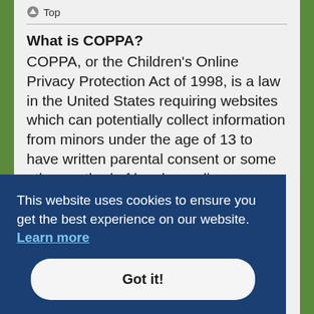Top
What is COPPA?
COPPA, or the Children's Online Privacy Protection Act of 1998, is a law in the United States requiring websites which can potentially collect information from minors under the age of 13 to have written parental consent or some other method of legal guardian acknowledgment, allowing the collection of personally identifiable information from a minor s r or e this board cannot provide legal advice and is not a
This website uses cookies to ensure you get the best experience on our website. Learn more
Got it!